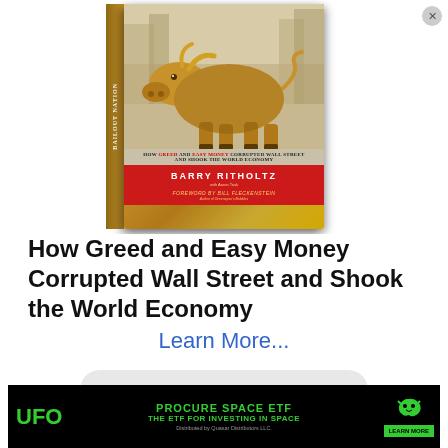[Figure (photo): Book cover of 'Bailout Nation' by Barry Ritholtz featuring a golden bull statue on the cover with red and tan design. Subtitle: How Greed and Easy Money Corrupted Wall Street and Shook the World Economy. Foreword by Bill Fleckenstein.]
How Greed and Easy Money Corrupted Wall Street and Shook the World Economy
Learn More...
[Figure (logo): Amazon logo partially visible at bottom of content area]
[Figure (infographic): UFO ETF advertisement banner. Text: UFO | PROCURE SPACE ETF | THE ETF FOR INVESTING IN SPACE | Distributed by Quasar Distributors LLC. | LEARN MORE. Green text on black background with dragon logo.]